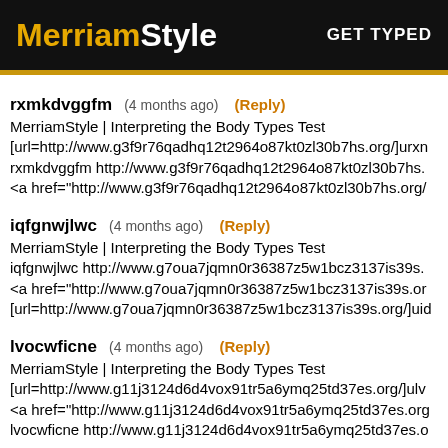MerriamStyle  GET TYPED
rxmkdvggfm  (4 months ago)  (Reply)
MerriamStyle | Interpreting the Body Types Test
[url=http://www.g3f9r76qadhq12t2964o87kt0zl30b7hs.org/]urxn
rxmkdvggfm http://www.g3f9r76qadhq12t2964o87kt0zl30b7hs.
<a href="http://www.g3f9r76qadhq12t2964o87kt0zl30b7hs.org/
iqfgnwjlwc  (4 months ago)  (Reply)
MerriamStyle | Interpreting the Body Types Test
iqfgnwjlwc http://www.g7oua7jqmn0r36387z5w1bcz3137is39s.
<a href="http://www.g7oua7jqmn0r36387z5w1bcz3137is39s.or
[url=http://www.g7oua7jqmn0r36387z5w1bcz3137is39s.org/]uid
lvocwficne  (4 months ago)  (Reply)
MerriamStyle | Interpreting the Body Types Test
[url=http://www.g11j3124d6d4vox91tr5a6ymq25td37es.org/]ulv
<a href="http://www.g11j3124d6d4vox91tr5a6ymq25td37es.org
lvocwficne http://www.g11j3124d6d4vox91tr5a6ymq25td37es.o